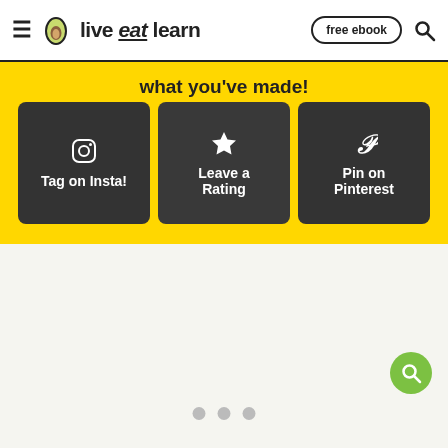live eat learn | free ebook
what you’ve made!
[Figure (infographic): Three dark buttons: Tag on Insta! (Instagram icon), Leave a Rating (star icon), Pin on Pinterest (Pinterest icon) on yellow background]
[Figure (other): Three pagination dots (grey circles) at bottom center. Green floating search button at bottom right.]